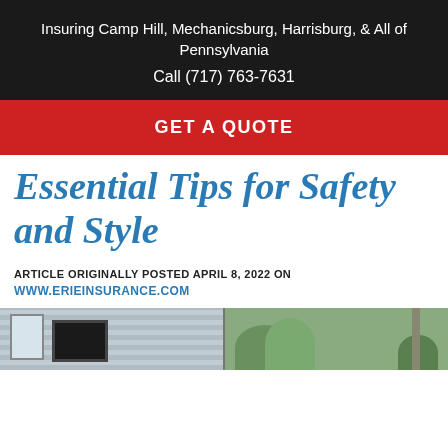Insuring Camp Hill, Mechanicsburg, Harrisburg, & All of Pennsylvania
Call (717) 763-7631
GET A QUOTE
Essential Tips for Safety and Style
ARTICLE ORIGINALLY POSTED APRIL 8, 2022 ON
WWW.ERIEINSURANCE.COM
[Figure (photo): Split photo showing outdoor scenes: left side shows a house exterior with a TV mounted outside near siding and white-framed windows; right side shows green plants/shrubs near a structure.]